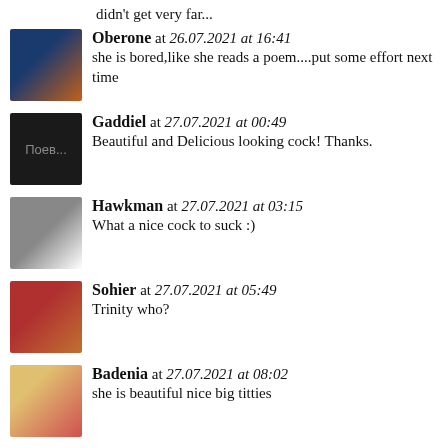didn't get very far...
Oberone at 27.07.2021 at 16:41 — she is bored,like she reads a poem....put some effort next time
Gaddiel at 27.07.2021 at 00:49 — Beautiful and Delicious looking cock! Thanks.
Hawkman at 27.07.2021 at 03:15 — What a nice cock to suck :)
Sohier at 27.07.2021 at 05:49 — Trinity who?
Badenia at 27.07.2021 at 08:02 — she is beautiful nice big titties
Simplifying at 27.07.2021 at 14:17 — Fucked to the bottom! Great. :-)
Austin at 28.07.2021 at 03:22 — pls do this to me
Calzado at 28.07.2021 at 09:09